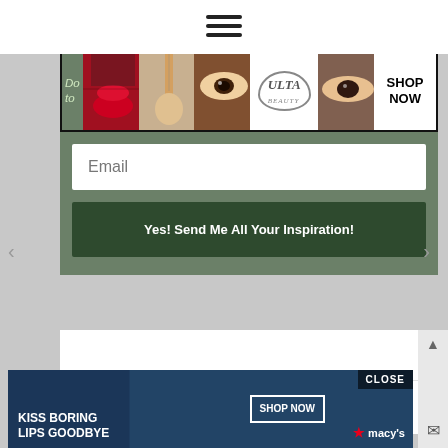[Figure (screenshot): Hamburger menu icon at top center of page]
[Figure (screenshot): Ulta Beauty advertisement banner strip with makeup images, Ulta logo, and SHOP NOW button]
Email
Yes! Send Me All Your Inspiration!
INSTAGRAM
[Figure (screenshot): Macy's advertisement banner: KISS BORING LIPS GOODBYE with SHOP NOW button and Macy's star logo, CLOSE button top right]